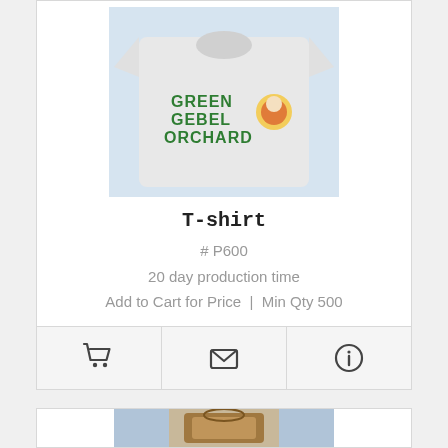[Figure (photo): White t-shirt with 'GREEN GEBEL ORCHARD' text and graphic printed on front, laid flat on a surface.]
T-shirt
# P600
20 day production time
Add to Cart for Price | Min Qty 500
[Figure (photo): Second product photo partially visible at bottom of page — appears to show a bag or basket item.]